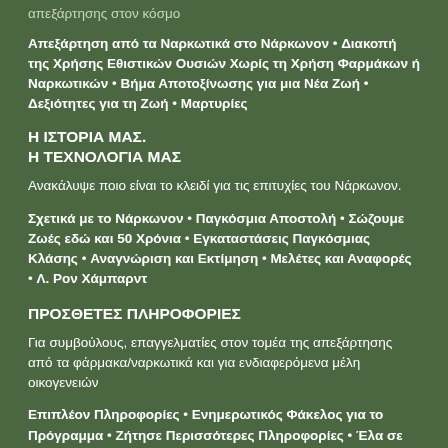απεξάρτησης στον κόσμο
Απεξάρτηση από τα Ναρκωτικά στο Νάρκωνον • Διακοπή της Χρήσης Εθιστικών Ουσιών Χωρίς τη Χρήση Φαρμάκων ή Ναρκωτικών • Βήμα Αποτοξίνωσης για μια Νέα Ζωή • Δεξιότητες για τη Ζωή • Μαρτυρίες
Η ΙΣΤΟΡΙΑ ΜΑΣ.
Η ΤΕΧΝΟΛΟΓΙΑ ΜΑΣ
Ανακάλυψε ποιο είναι το κλειδί για τις επιτυχίες του Νάρκωνον.
Σχετικά με το Νάρκωνον • Παγκόσμια Αποστολή • Σώζουμε Ζωές εδώ και 50 Χρόνια • Εγκαταστάσεις Παγκόσμιας Κλάσης • Αναγνώριση και Εκτίμηση • Μελέτες και Αναφορές • Λ. Ρον Χάμπαρντ
ΠΡΟΣΘΕΤΕΣ ΠΛΗΡΟΦΟΡΙΕΣ
Για συμβούλους, επαγγελματίες στον τομέα της απεξάρτησης από τα φάρμακα/ναρκωτικά και για ενδιαφερόμενα μέλη οικογενειών
Επιπλέον Πληροφορίες • Ενημερωτικός Φάκελος για το Πρόγραμμα • Ζήτησε Περισσότερες Πληροφορίες • Έλα σε Επαφή με το Νάρκωνον • Εκπαίδευση σε Θέματα Φαρμάκων/